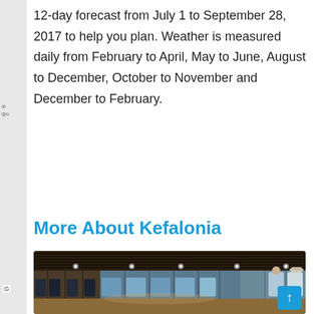12-day forecast from July 1 to September 28, 2017 to help you plan. Weather is measured daily from February to April, May to June, August to December, October to November and December to February.
More About Kefalonia
[Figure (photo): Interior of a clothing/suit store with wooden shelving and hanging suits, mainly blue/grey jackets]